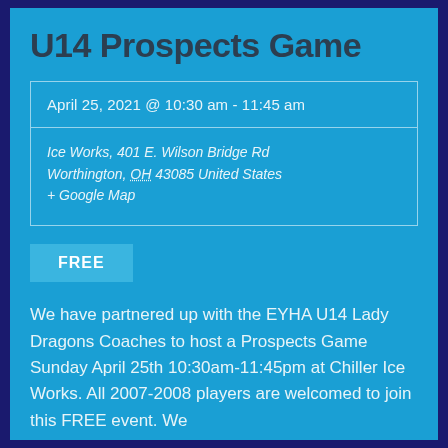U14 Prospects Game
April 25, 2021 @ 10:30 am - 11:45 am
Ice Works, 401 E. Wilson Bridge Rd Worthington, OH 43085 United States + Google Map
FREE
We have partnered up with the EYHA U14 Lady Dragons Coaches to host a Prospects Game Sunday April 25th 10:30am-11:45pm at Chiller Ice Works. All 2007-2008 players are welcomed to join this FREE event. We